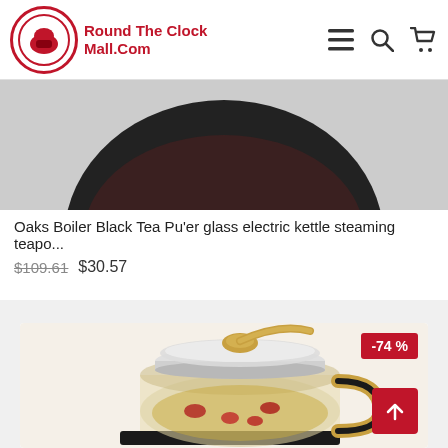Round The Clock Mall.Com
Oaks Boiler Black Tea Pu'er glass electric kettle steaming teapo...
$109.61 $30.57
[Figure (photo): Glass electric kettle/teapot with gold handle and lid, containing liquid with red dates/berries visible through the glass body, sitting on a black base. A -74% discount badge is shown in the top right corner.]